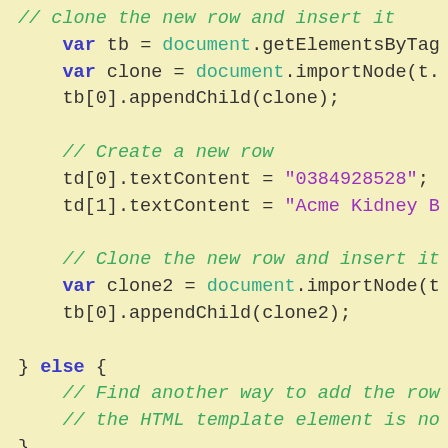// clone the new row and insert it
    var tb = document.getElementsByTag
    var clone = document.importNode(t.
    tb[0].appendChild(clone);

    // Create a new row
    td[0].textContent = "0384928528";
    td[1].textContent = "Acme Kidney B

    // Clone the new row and insert it
    var clone2 = document.importNode(t
    tb[0].appendChild(clone2);

} else {
    // Find another way to add the row
    // the HTML template element is no
}